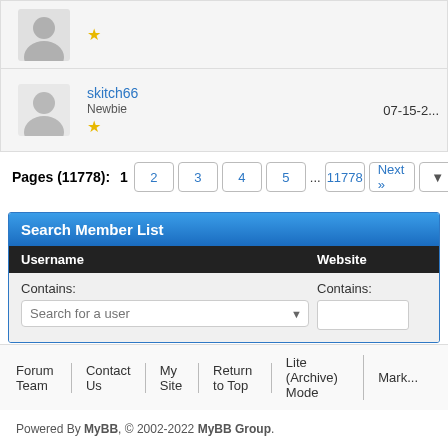| Avatar | Username/Rank | Date |
| --- | --- | --- |
| [avatar] | [star] |  |
| [avatar] | skitch66
Newbie
[star] | 07-15-2... |
Pages (11778): 1 2 3 4 5 ... 11778 Next »
Search Member List
| Username | Website |
| --- | --- |
| Contains: [Search for a user dropdown] | Contains: [input] |
Forum Team | Contact Us | My Site | Return to Top | Lite (Archive) Mode | Mark...
Powered By MyBB, © 2002-2022 MyBB Group.